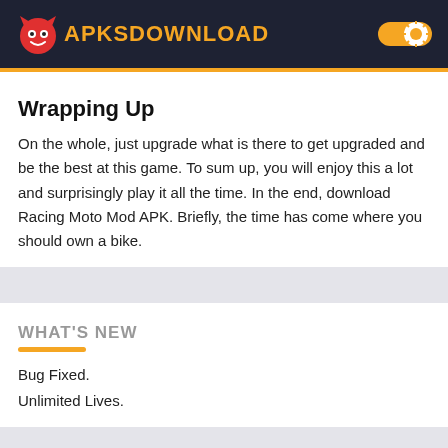APKSDOWNLOAD
Wrapping Up
On the whole, just upgrade what is there to get upgraded and be the best at this game. To sum up, you will enjoy this a lot and surprisingly play it all the time. In the end, download Racing Moto Mod APK. Briefly, the time has come where you should own a bike.
WHAT'S NEW
Bug Fixed.
Unlimited Lives.
VIDEO